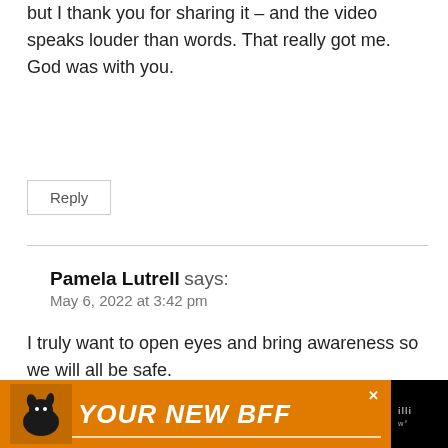but I thank you for sharing it – and the video speaks louder than words. That really got me. God was with you.
Reply
Pamela Lutrell says:
May 6, 2022 at 3:42 pm
I truly want to open eyes and bring awareness so we will all be safe.
Reply
[Figure (other): Advertisement banner: black background with orange section showing a dog silhouette and text 'YOUR NEW BFF' in white bold italic, with a white underline and close button.]